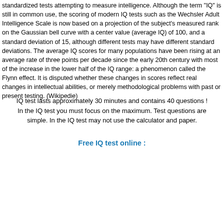standardized tests attempting to measure intelligence. Although the term "IQ" is still in common use, the scoring of modern IQ tests such as the Wechsler Adult Intelligence Scale is now based on a projection of the subject's measured rank on the Gaussian bell curve with a center value (average IQ) of 100, and a standard deviation of 15, although different tests may have different standard deviations. The average IQ scores for many populations have been rising at an average rate of three points per decade since the early 20th century with most of the increase in the lower half of the IQ range: a phenomenon called the Flynn effect. It is disputed whether these changes in scores reflect real changes in intellectual abilities, or merely methodological problems with past or present testing. (Wikipedie)
IQ test lasts approximately 30 minutes and contains 40 questions ! In the IQ test you must focus on the maximum. Test questions are simple. In the IQ test may not use the calculator and paper.
Free IQ test online :